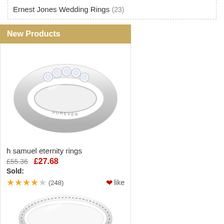Ernest Jones Wedding Rings (23)
New Products
[Figure (photo): Silver eternity/wedding ring with diamonds and 'FOREVER' engraved on the band]
h samuel eternity rings
£55.36  £27.68
Sold:
★★★★☆ (248)  ❤like
[Figure (photo): Thin silver eternity ring with small diamonds all around the band]